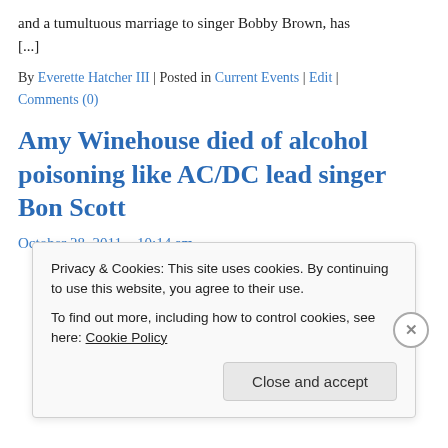and a tumultuous marriage to singer Bobby Brown, has [...]
By Everette Hatcher III | Posted in Current Events | Edit | Comments (0)
Amy Winehouse died of alcohol poisoning like AC/DC lead singer Bon Scott
October 28, 2011 – 10:14 am
Privacy & Cookies: This site uses cookies. By continuing to use this website, you agree to their use. To find out more, including how to control cookies, see here: Cookie Policy